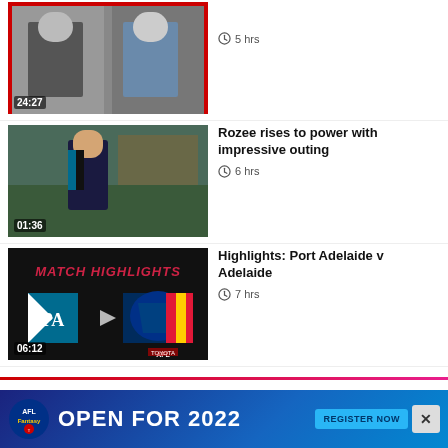[Figure (screenshot): Partial video thumbnail showing two men in suits, duration 24:27, time: 5 hrs]
5 hrs
[Figure (screenshot): Video thumbnail of AFL player Rozee running on field wearing Port Adelaide uniform, duration 01:36]
Rozee rises to power with impressive outing
6 hrs
[Figure (screenshot): Match Highlights thumbnail: Port Adelaide vs Adelaide, showing team logos, duration 06:12, AFL Toyota branding]
Highlights: Port Adelaide v Adelaide
7 hrs
Next Up
[Figure (screenshot): AFL Fantasy advertisement banner: Open for 2022, Register Now button, with X close button]